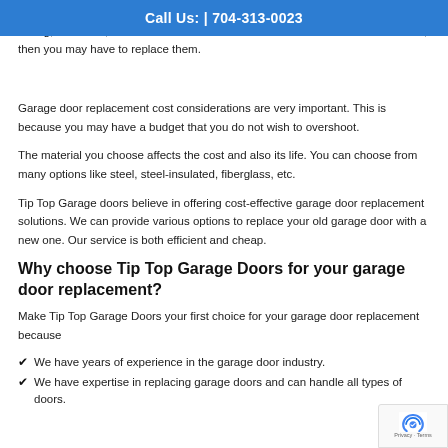Call Us: | 704-313-0023
Do you need a new garage door? If your existing garage door is wooden and rotting, or broken, or if the doors are made of metal but have worn-out hardware, then you may have to replace them.
Garage door replacement cost considerations are very important. This is because you may have a budget that you do not wish to overshoot.
The material you choose affects the cost and also its life. You can choose from many options like steel, steel-insulated, fiberglass, etc.
Tip Top Garage doors believe in offering cost-effective garage door replacement solutions. We can provide various options to replace your old garage door with a new one. Our service is both efficient and cheap.
Why choose Tip Top Garage Doors for your garage door replacement?
Make Tip Top Garage Doors your first choice for your garage door replacement because
We have years of experience in the garage door industry.
We have expertise in replacing garage doors and can handle all types of doors.